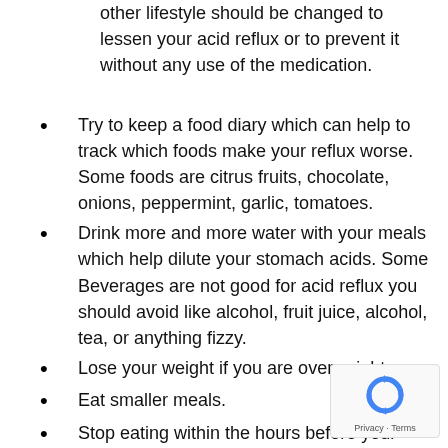other lifestyle should be changed to lessen your acid reflux or to prevent it without any use of the medication.
Try to keep a food diary which can help to track which foods make your reflux worse. Some foods are citrus fruits, chocolate, onions, peppermint, garlic, tomatoes.
Drink more and more water with your meals which help dilute your stomach acids. Some Beverages are not good for acid reflux you should avoid like alcohol, fruit juice, alcohol, tea, or anything fizzy.
Lose your weight if you are overweight.
Eat smaller meals.
Stop eating within the hours before your bedtime.